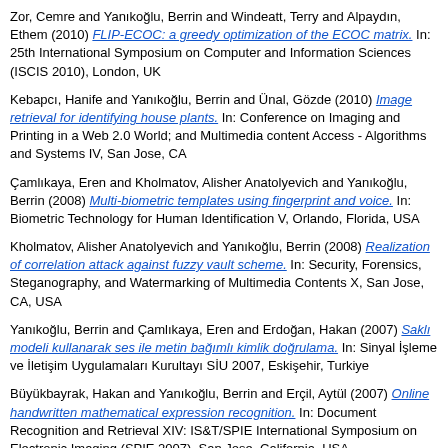Zor, Cemre and Yanıkoğlu, Berrin and Windeatt, Terry and Alpaydın, Ethem (2010) FLIP-ECOC: a greedy optimization of the ECOC matrix. In: 25th International Symposium on Computer and Information Sciences (ISCIS 2010), London, UK
Kebapcı, Hanife and Yanıkoğlu, Berrin and Ünal, Gözde (2010) Image retrieval for identifying house plants. In: Conference on Imaging and Printing in a Web 2.0 World; and Multimedia content Access - Algorithms and Systems IV, San Jose, CA
Çamlıkaya, Eren and Kholmatov, Alisher Anatolyevich and Yanıkoğlu, Berrin (2008) Multi-biometric templates using fingerprint and voice. In: Biometric Technology for Human Identification V, Orlando, Florida, USA
Kholmatov, Alisher Anatolyevich and Yanıkoğlu, Berrin (2008) Realization of correlation attack against fuzzy vault scheme. In: Security, Forensics, Steganography, and Watermarking of Multimedia Contents X, San Jose, CA, USA
Yanıkoğlu, Berrin and Çamlıkaya, Eren and Erdoğan, Hakan (2007) Saklı modeli kullanarak ses ile metin bağımlı kimlik doğrulama. In: Sinyal İşleme ve İletişim Uygulamaları Kurultayı SİU 2007, Eskişehir, Turkiye
Büyükbayrak, Hakan and Yanıkoğlu, Berrin and Erçil, Aytül (2007) Online handwritten mathematical expression recognition. In: Document Recognition and Retrieval XIV: IS&T/SPIE International Symposium on Electronic Imaging (SPIE 2007), San Jose, California, USA
Büyükbayrak, Hakan and Yanıkoğlu, Berrin and Erçil, Aytül (2006) Online handwritten mathematical expression recognition = Çevrimiçi elle yazılmış matematiksel ifade tanıma. In: Sinyal İşleme ve İletişim Uygulamaları